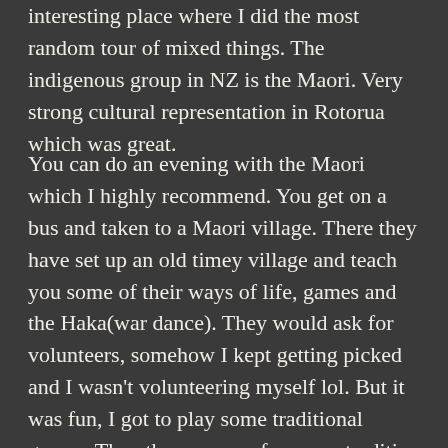interesting place where I did the most random tour of mixed things. The indigenous group in NZ is the Maori. Very strong cultural representation in Rotorua which was great.
You can do an evening with the Maori which I highly recommend. You get on a bus and taken to a Maori village. There they have set up an old timey village and teach you some of their ways of life, games and the Haka(war dance). They would ask for volunteers, somehow I kept getting picked and I wasn't volunteering myself lol. But it was fun, I got to play some traditional games. They then prepare for you a tradition meal called the Hangi.